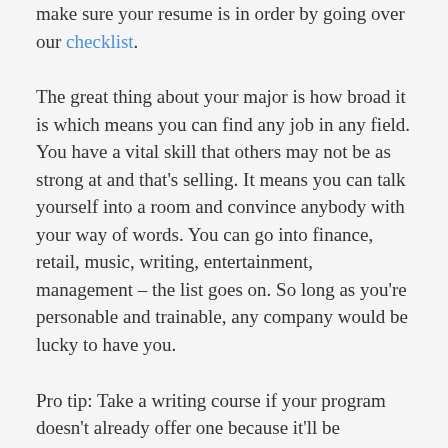make sure your resume is in order by going over our checklist.
The great thing about your major is how broad it is which means you can find any job in any field. You have a vital skill that others may not be as strong at and that’s selling. It means you can talk yourself into a room and convince anybody with your way of words. You can go into finance, retail, music, writing, entertainment, management – the list goes on. So long as you’re personable and trainable, any company would be lucky to have you.
Pro tip: Take a writing course if your program doesn’t already offer one because it’ll be beneficial in the long run.
Here are entry-level positions you can look for with a